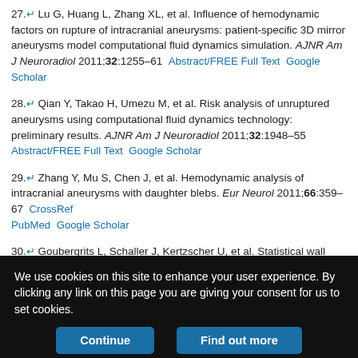27. Lu G, Huang L, Zhang XL, et al. Influence of hemodynamic factors on rupture of intracranial aneurysms: patient-specific 3D mirror aneurysms model computational fluid dynamics simulation. AJNR Am J Neuroradiol 2011;32:1255–61  Abstract/FREE Full Text  Google Scholar
28. Qian Y, Takao H, Umezu M, et al. Risk analysis of unruptured aneurysms using computational fluid dynamics technology: preliminary results. AJNR Am J Neuroradiol 2011;32:1948–55  Abstract/FREE Full Text  Google Scholar
29. Zhang Y, Mu S, Chen J, et al. Hemodynamic analysis of intracranial aneurysms with daughter blebs. Eur Neurol 2011;66:359–67  CrossRef  PubMed  Google Scholar
30. Goubergrits L, Schaller J, Kertzscher U, et al. Statistical wall shear stress maps of ruptured and unruptured middle cerebral artery aneurysms. J R Soc Interface 2012;9:677–88  Abstract/FREE Full Text  Google Scholar
We use cookies on this site to enhance your user experience. By clicking any link on this page you are giving your consent for us to set cookies.